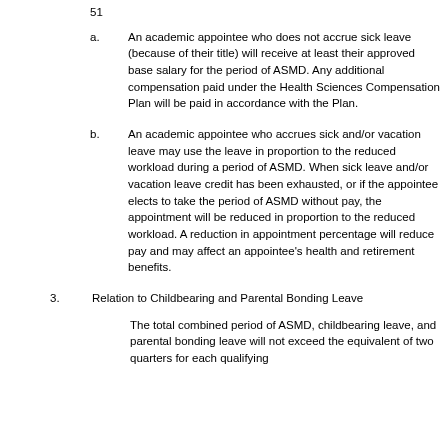a. An academic appointee who does not accrue sick leave (because of their title) will receive at least their approved base salary for the period of ASMD. Any additional compensation paid under the Health Sciences Compensation Plan will be paid in accordance with the Plan.
b. An academic appointee who accrues sick and/or vacation leave may use the leave in proportion to the reduced workload during a period of ASMD. When sick leave and/or vacation leave credit has been exhausted, or if the appointee elects to take the period of ASMD without pay, the appointment will be reduced in proportion to the reduced workload. A reduction in appointment percentage will reduce pay and may affect an appointee's health and retirement benefits.
3. Relation to Childbearing and Parental Bonding Leave
The total combined period of ASMD, childbearing leave, and parental bonding leave will not exceed the equivalent of two quarters for each qualifying